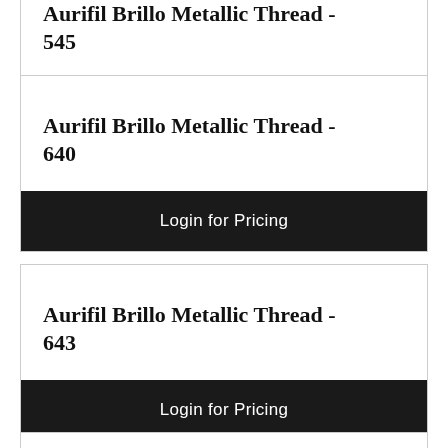Aurifil Brillo Metallic Thread - 545
Login for Pricing
Aurifil Brillo Metallic Thread - 640
Login for Pricing
Aurifil Brillo Metallic Thread - 643
Login for Pricing